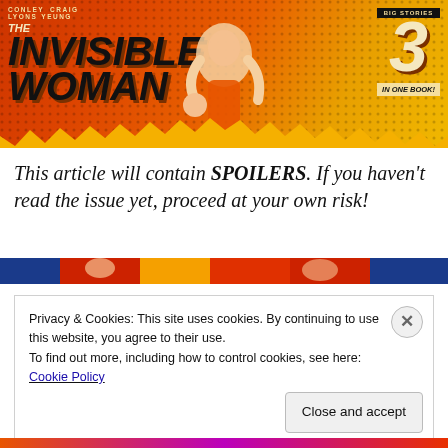[Figure (illustration): Comic book cover banner for 'The Invisible Woman' by Conley Lyons and Craig Yeung. Orange/red background with illustrated character figure. '3 Big Stories In One Book!' badge on right side.]
This article will contain SPOILERS. If you haven't read the issue yet, proceed at your own risk!
[Figure (illustration): Colorful comic book art banner strip showing Marvel superhero characters.]
Privacy & Cookies: This site uses cookies. By continuing to use this website, you agree to their use.
To find out more, including how to control cookies, see here: Cookie Policy
Close and accept